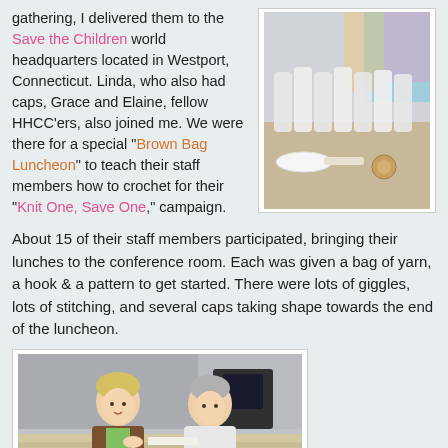gathering, I delivered them to the Save the Children world headquarters located in Westport, Connecticut. Linda, who also had caps, Grace and Elaine, fellow HHCC'ers, also joined me. We were there for a special "Brown Bag Luncheon" to teach their staff members how to crochet for their "Knit One, Save One," campaign.
[Figure (photo): Photo of bags of yarn/white bags arranged on a table at a luncheon event with colorful backdrop]
About 15 of their staff members participated, bringing their lunches to the conference room. Each was given a bag of yarn, a hook & a pattern to get started. There were lots of giggles, lots of stitching, and several caps taking shape towards the end of the luncheon.
[Figure (photo): Two women sitting at a table in a conference room, one with blonde hair in a brown jacket and the other with grey hair in a white sweatshirt, appearing to be working on crochet]